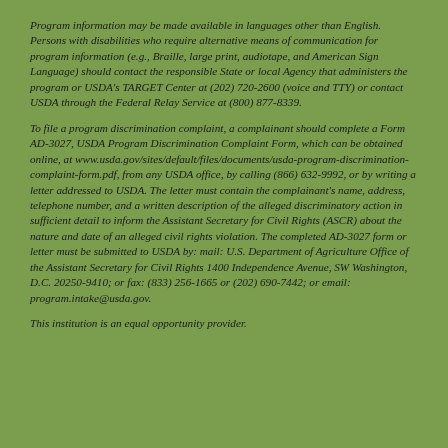Program information may be made available in languages other than English. Persons with disabilities who require alternative means of communication for program information (e.g., Braille, large print, audiotape, and American Sign Language) should contact the responsible State or local Agency that administers the program or USDA's TARGET Center at (202) 720-2600 (voice and TTY) or contact USDA through the Federal Relay Service at (800) 877-8339.
To file a program discrimination complaint, a complainant should complete a Form AD-3027, USDA Program Discrimination Complaint Form, which can be obtained online, at www.usda.gov/sites/default/files/documents/usda-program-discrimination-complaint-form.pdf, from any USDA office, by calling (866) 632-9992, or by writing a letter addressed to USDA. The letter must contain the complainant's name, address, telephone number, and a written description of the alleged discriminatory action in sufficient detail to inform the Assistant Secretary for Civil Rights (ASCR) about the nature and date of an alleged civil rights violation. The completed AD-3027 form or letter must be submitted to USDA by: mail: U.S. Department of Agriculture Office of the Assistant Secretary for Civil Rights 1400 Independence Avenue, SW Washington, D.C. 20250-9410; or fax: (833) 256-1665 or (202) 690-7442; or email: program.intake@usda.gov.
This institution is an equal opportunity provider.